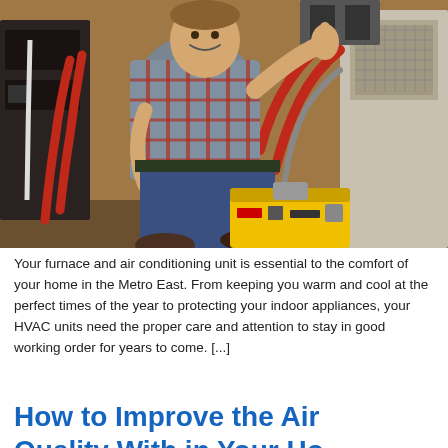[Figure (photo): HVAC technician in plaid shirt kneeling on floor giving thumbs up next to a yellow toolbox, surrounded by red pipes, wiring, and HVAC equipment in a mechanical room]
Your furnace and air conditioning unit is essential to the comfort of your home in the Metro East. From keeping you warm and cool at the perfect times of the year to protecting your indoor appliances, your HVAC units need the proper care and attention to stay in good working order for years to come. [...]
How to Improve the Air Quality With in Your Ho...